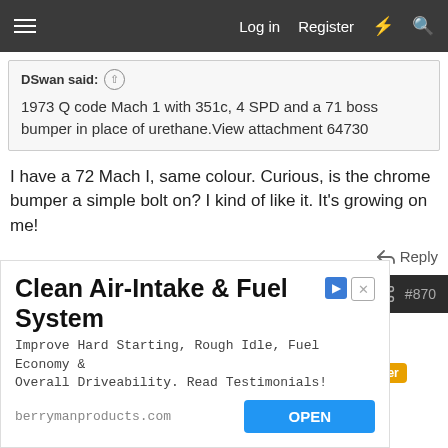Log in  Register
DSwan said: ↑
1973 Q code Mach 1 with 351c, 4 SPD and a 71 boss bumper in place of urethane.View attachment 64730
I have a 72 Mach I, same colour. Curious, is the chrome bumper a simple bolt on? I kind of like it. It's growing on me!
↩ Reply
Jun 22, 2022  #870
Ajh1973
Active member  7173 Mustang Supporter Member
Clean Air-Intake & Fuel System
Improve Hard Starting, Rough Idle, Fuel Economy & Overall Driveability. Read Testimonials!
berrymanproducts.com  OPEN